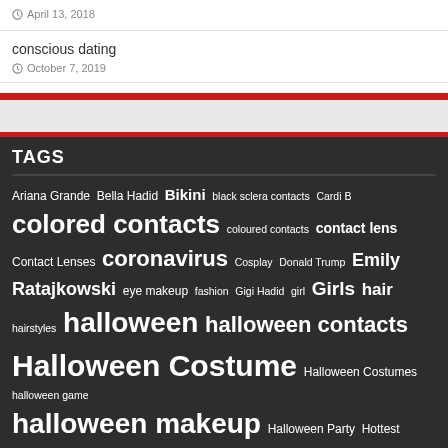April 13, 2018
conscious dating
October 7, 2019
TAGS
Ariana Grande Bella Hadid Bikini black sclera contacts Cardi B colored contacts coloured contacts contact lens Contact Lenses coronavirus Cosplay Donald Trump Emily Ratajkowski eye makeup fashion Gigi Hadid girl Girls hair hairstyles halloween halloween contacts Halloween Costume Halloween Costumes halloween game halloween makeup Halloween Party Hottest Photos Ivanka Trump Jennifer Lopez Kendall Jenner Kim Kardashian Kylie Jenner Lady Gaga makeup Meghan Markle